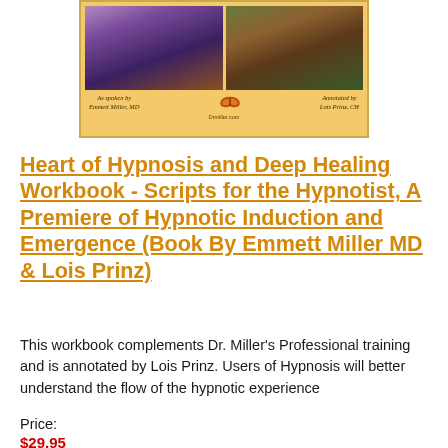[Figure (photo): Book cover for 'Heart of Hypnosis and Deep Healing Workbook' with yellow/gold background, two photos at top showing hypnosis sessions, credits to Emmett Miller MD and Lois Prinz CH, butterfly logo in center]
Heart of Hypnosis and Deep Healing Workbook - Scripts for the Hypnotist, A Premiere of Hypnotic Induction and Emergence (Book By Emmett Miller MD & Lois Prinz)
This workbook complements Dr. Miller's Professional training and is annotated by Lois Prinz. Users of Hypnosis will better understand the flow of the hypnotic experience
Price:
$29.95